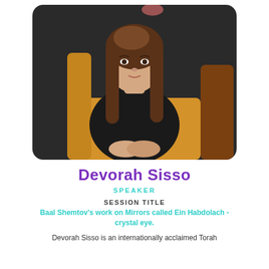[Figure (photo): Professional portrait photo of Devorah Sisso, a woman with long brown hair sitting on a yellow/mustard chair, wearing a black turtleneck top and brown pants, posed with hands resting together, dark background.]
Devorah Sisso
SPEAKER
SESSION TITLE
Baal Shemtov's work on Mirrors called Ein Habdolach - crystal eye.
Devorah Sisso is an internationally acclaimed Torah